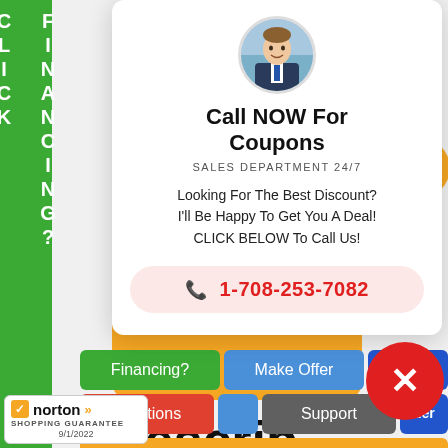FINANCING? CLICK
[Figure (screenshot): Modal popup with avatar photo, call to action text 'Call NOW For Coupons', phone number 1-708-253-7082, and navigation buttons for Financing, Make Offer, Locations, Support, New Items. Red close button (X) overlaid. Norton Shopping Guarantee badge at bottom left.]
Call NOW For Coupons
SALES DEPARTMENT 24/7
Looking For The Best Discount?
I'll Be Happy To Get You A Deal!
CLICK BELOW To Call Us!
1-708-253-7082
Descrip
Financing?
Make Offer
Locations
Support
New Items
norton SHOPPING GUARANTEE 9/1/2022